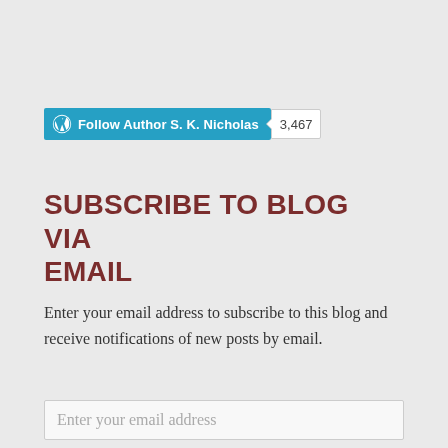[Figure (other): WordPress Follow Author button for S. K. Nicholas with follower count badge showing 3,467]
SUBSCRIBE TO BLOG VIA EMAIL
Enter your email address to subscribe to this blog and receive notifications of new posts by email.
Enter your email address